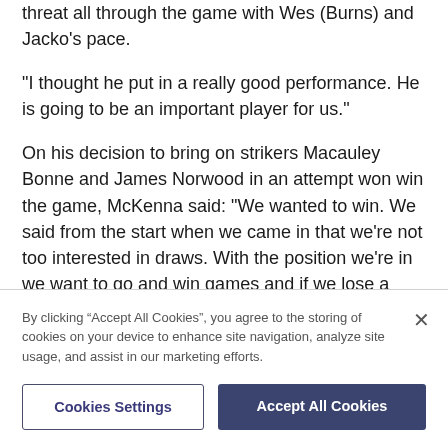threat all through the game with Wes (Burns) and Jacko's pace.
"I thought he put in a really good performance. He is going to be an important player for us."
On his decision to bring on strikers Macauley Bonne and James Norwood in an attempt won win the game, McKenna said: "We wanted to win. We said from the start when we came in that we're not too interested in draws. With the position we're in we want to go and win games and if we lose a couple along the way then so be it.
By clicking “Accept All Cookies”, you agree to the storing of cookies on your device to enhance site navigation, analyze site usage, and assist in our marketing efforts.
Cookies Settings
Accept All Cookies